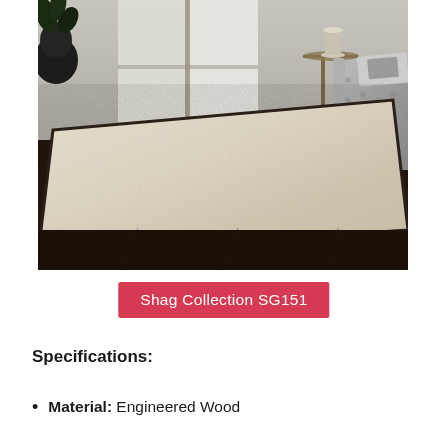[Figure (photo): A cream/ivory shag rug in a living room setting with a tufted grey sofa, dark side table, plant, and hardwood floor visible]
Shag Collection SG151
Specifications:
Material: Engineered Wood